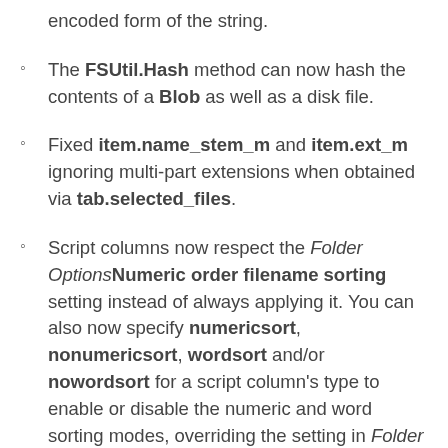encoded form of the string.
The FSUtil.Hash method can now hash the contents of a Blob as well as a disk file.
Fixed item.name_stem_m and item.ext_m ignoring multi-part extensions when obtained via tab.selected_files.
Script columns now respect the Folder OptionsNumeric order filename sorting setting instead of always applying it. You can also now specify numericsort, nonumericsort, wordsort and/or nowordsort for a script column's type to enable or disable the numeric and word sorting modes, overriding the setting in Folder